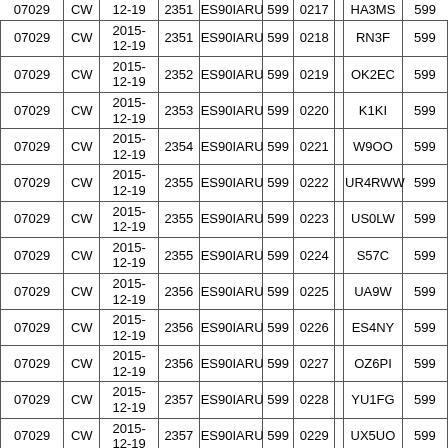| Freq | Mode | Date | Time | Contest | RST | Nr |  | Call | RST |
| --- | --- | --- | --- | --- | --- | --- | --- | --- | --- |
| 07029 | CW | 2015-12-19 | 2351 | ES90IARU | 599 | 0218 |  | RN3F | 599 |
| 07029 | CW | 2015-12-19 | 2352 | ES90IARU | 599 | 0219 |  | OK2EC | 599 |
| 07029 | CW | 2015-12-19 | 2353 | ES90IARU | 599 | 0220 |  | K1KI | 599 |
| 07029 | CW | 2015-12-19 | 2354 | ES90IARU | 599 | 0221 |  | W9OO | 599 |
| 07029 | CW | 2015-12-19 | 2355 | ES90IARU | 599 | 0222 |  | UR4RWW | 599 |
| 07029 | CW | 2015-12-19 | 2355 | ES90IARU | 599 | 0223 |  | US0LW | 599 |
| 07029 | CW | 2015-12-19 | 2355 | ES90IARU | 599 | 0224 |  | S57C | 599 |
| 07029 | CW | 2015-12-19 | 2356 | ES90IARU | 599 | 0225 |  | UA9W | 599 |
| 07029 | CW | 2015-12-19 | 2356 | ES90IARU | 599 | 0226 |  | ES4NY | 599 |
| 07029 | CW | 2015-12-19 | 2356 | ES90IARU | 599 | 0227 |  | OZ6PI | 599 |
| 07029 | CW | 2015-12-19 | 2357 | ES90IARU | 599 | 0228 |  | YU1FG | 599 |
| 07029 | CW | 2015-12-19 | 2357 | ES90IARU | 599 | 0229 |  | UX5UO | 599 |
| 07029 | CW | 2015-12-19 | 2358 | ES90IARU | 599 | 0230 |  | 4Z4AK | 599 |